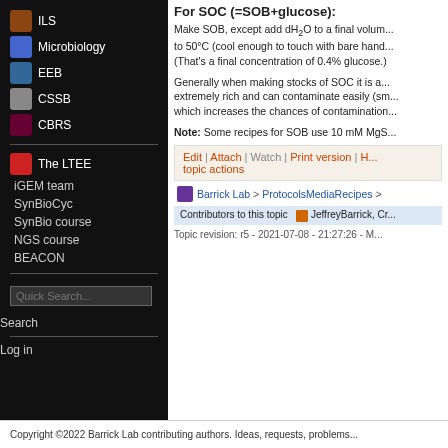ILS
Microbiology
EEB
CSSB
CBRS
The LTEE
iGEM team
SynBioCyc
SynBio course
NGS course
BEACON
For SOC (=SOB+glucose):
Make SOB, except add dH2O to a final volum... to 50°C (cool enough to touch with bare hand... (That's a final concentration of 0.4% glucose.)
Generally when making stocks of SOC it is a... extremely rich and can contaminate easily (sm... which increases the chances of contamination...
Note: Some recipes for SOB use 10 mM MgS...
Edit | Attach | Watch | Print version | H... topic actions
Barrick Lab > ProtocolsMediaRecipes >
Contributors to this topic  JeffreyBarrick, Cr...
Topic revision: r5 - 2021-07-08 - 21:27:26 - M...
Copyright ©2022 Barrick Lab contributing authors. Ideas, requests, problems...